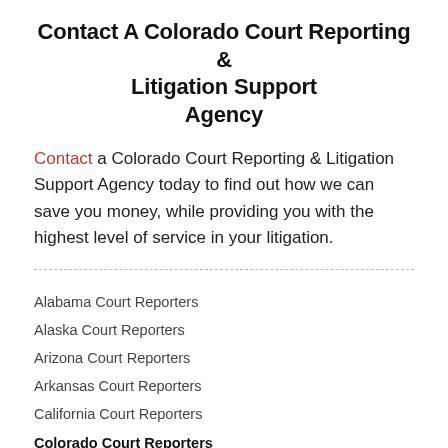Contact A Colorado Court Reporting & Litigation Support Agency
Contact a Colorado Court Reporting & Litigation Support Agency today to find out how we can save you money, while providing you with the highest level of service in your litigation.
Alabama Court Reporters
Alaska Court Reporters
Arizona Court Reporters
Arkansas Court Reporters
California Court Reporters
Colorado Court Reporters